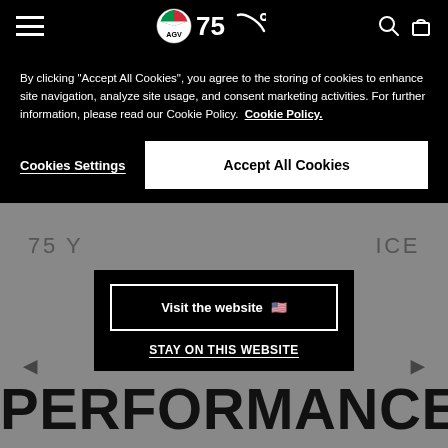AGV navigation bar with hamburger menu, AGV logo, 75° anniversary logo, search and cart icons
By clicking "Accept All Cookies", you agree to the storing of cookies to enhance site navigation, analyze site usage, and consent marketing activities. For further information, please read our Cookie Policy. Cookie Policy.
Cookies Settings
Accept All Cookies
75 Y                  ICE
Visit the website 🇺🇸
STAY ON THIS WEBSITE
PERFORMANCE